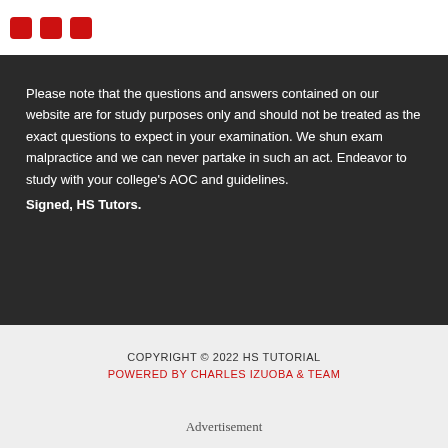[Figure (other): Social media icons (red square icons) in top white strip]
Please note that the questions and answers contained on our website are for study purposes only and should not be treated as the exact questions to expect in your examination. We shun exam malpractice and we can never partake in such an act. Endeavor to study with your college's AOC and guidelines. Signed, HS Tutors.
COPYRIGHT © 2022 HS TUTORIAL
POWERED BY CHARLES IZUOBA & TEAM
Advertisement